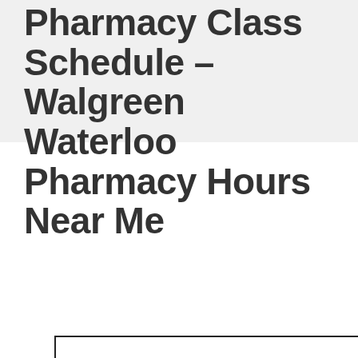Pharmacy Class Schedule – Walgreen Waterloo Pharmacy Hours Near Me
[Figure (screenshot): A web search interface box with text 'Enter what you want to s[earch]' and a text input field, partially obscured by an 'ASK CPL' blue chat-bubble logo overlay and a black rectangle overlay.]